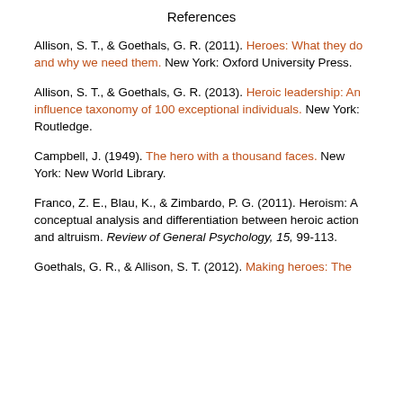References
Allison, S. T., & Goethals, G. R. (2011). Heroes: What they do and why we need them. New York: Oxford University Press.
Allison, S. T., & Goethals, G. R. (2013). Heroic leadership: An influence taxonomy of 100 exceptional individuals. New York: Routledge.
Campbell, J. (1949). The hero with a thousand faces. New York: New World Library.
Franco, Z. E., Blau, K., & Zimbardo, P. G. (2011). Heroism: A conceptual analysis and differentiation between heroic action and altruism. Review of General Psychology, 15, 99-113.
Goethals, G. R., & Allison, S. T. (2012). Making heroes: The...